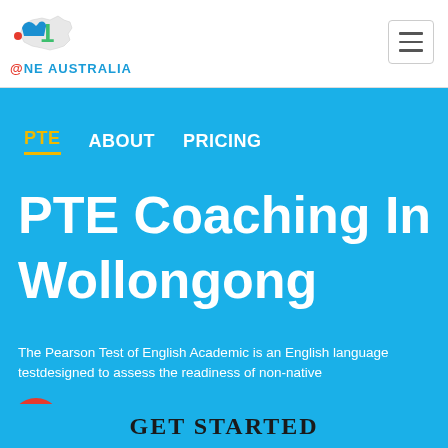[Figure (logo): One Australia logo with Australian map outline and number 1, colored red, green, blue]
ONE AUSTRALIA
PTE   ABOUT  PRICING
PTE Coaching In Wollongong
The Pearson Test of English Academic is an English language testdesigned to assess the readiness of non-native
GET STARTED